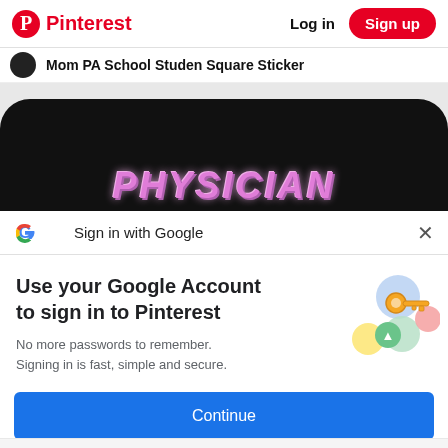Pinterest  Log in  Sign up
Mom PA School Studen Square Sticker
[Figure (illustration): Partially visible dark/black product image with pink bubble-letter text reading PHYSICIAN at the bottom]
Sign in with Google
Use your Google Account to sign in to Pinterest
No more passwords to remember.
Signing in is fast, simple and secure.
[Figure (illustration): Google key illustration with colorful circles and a golden key]
Continue